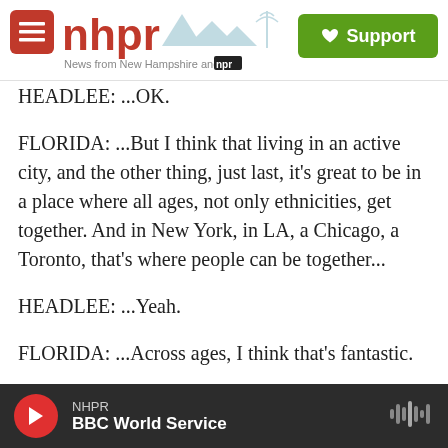nhpr — News from New Hampshire and NPR | Support
HEADLEE: ...OK.
FLORIDA: ...But I think that living in an active city, and the other thing, just last, it's great to be in a place where all ages, not only ethnicities, get together. And in New York, in LA, a Chicago, a Toronto, that's where people can be together...
HEADLEE: ...Yeah.
FLORIDA: ...Across ages, I think that's fantastic.
HEADLEE: And Richard Florida, senior editor at
NHPR | BBC World Service